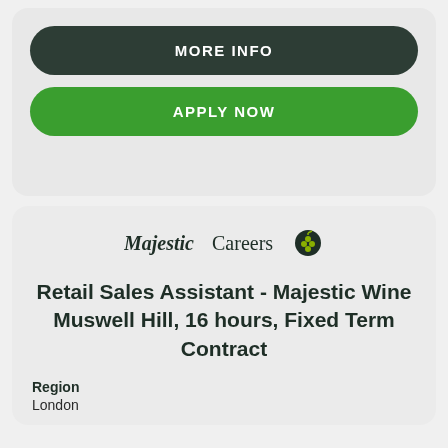MORE INFO
APPLY NOW
[Figure (logo): MajesticCareers logo with grape cluster icon]
Retail Sales Assistant - Majestic Wine Muswell Hill, 16 hours, Fixed Term Contract
Region
London